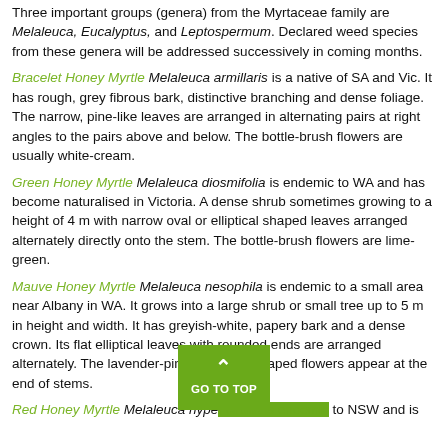Three important groups (genera) from the Myrtaceae family are Melaleuca, Eucalyptus, and Leptospermum. Declared weed species from these genera will be addressed successively in coming months.
Bracelet Honey Myrtle Melaleuca armillaris is a native of SA and Vic. It has rough, grey fibrous bark, distinctive branching and dense foliage. The narrow, pine-like leaves are arranged in alternating pairs at right angles to the pairs above and below. The bottle-brush flowers are usually white-cream.
Green Honey Myrtle Melaleuca diosmifolia is endemic to WA and has become naturalised in Victoria. A dense shrub sometimes growing to a height of 4 m with narrow oval or elliptical shaped leaves arranged alternately directly onto the stem. The bottle-brush flowers are lime-green.
Mauve Honey Myrtle Melaleuca nesophila is endemic to a small area near Albany in WA. It grows into a large shrub or small tree up to 5 m in height and width. It has greyish-white, papery bark and a dense crown. Its flat elliptical leaves with rounded ends are arranged alternately. The lavender-pink pom-pom shaped flowers appear at the end of stems.
Red Honey Myrtle Melaleuca hypericifolia is endemic to NSW and is